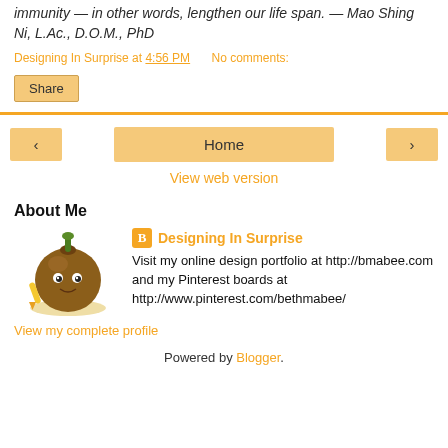immunity — in other words, lengthen our life span. — Mao Shing Ni, L.Ac., D.O.M., PhD
Designing In Surprise at 4:56 PM   No comments:
Share
‹   Home   ›
View web version
About Me
[Figure (illustration): Cartoon character illustration of a round brown onion/acorn figure with eyes and a yellow pencil]
Designing In Surprise
Visit my online design portfolio at http://bmabee.com and my Pinterest boards at http://www.pinterest.com/bethmabee/
View my complete profile
Powered by Blogger.